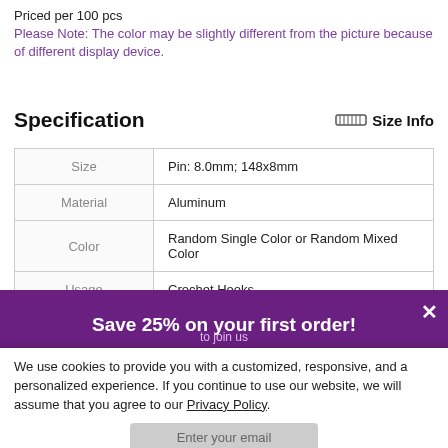Priced per 100 pcs
Please Note: The color may be slightly different from the picture because of different display device.
Specification
|  |  |
| --- | --- |
| Size | Pin: 8.0mm; 148x8mm |
| Material | Aluminum |
| Color | Random Single Color or Random Mixed Color |
| Usage | Crochet Hooks |
| Package Size | 100 pcs per package |
Save 25% on your first order!
We use cookies to provide you with a customized, responsive, and a personalized experience. If you continue to use our website, we will assume that you agree to our Privacy Policy.